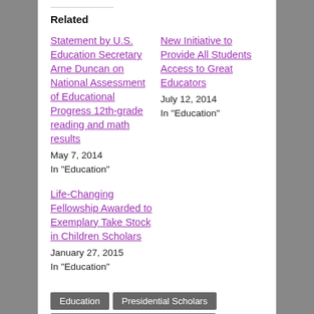Related
Statement by U.S. Education Secretary Arne Duncan on National Assessment of Educational Progress 12th-grade reading and math results
May 7, 2014
In "Education"
New Initiative to Provide All Students Access to Great Educators
July 12, 2014
In "Education"
Life-Changing Fellowship Awarded to Exemplary Take Stock in Children Scholars
January 27, 2015
In "Education"
Education
Presidential Scholars
Secretary of Education Arne Duncan